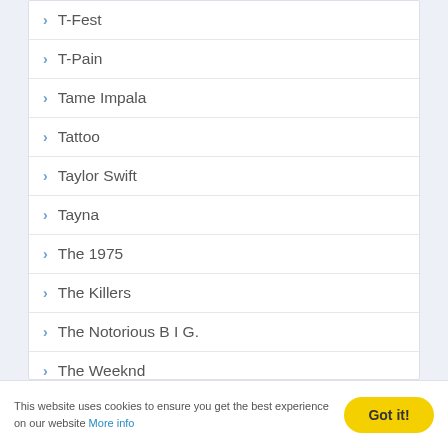T-Fest
T-Pain
Tame Impala
Tattoo
Taylor Swift
Tayna
The 1975
The Killers
The Notorious B I G.
The Weeknd
Tierra Whack
Tion Wayne
This website uses cookies to ensure you get the best experience on our website More info  Got it!